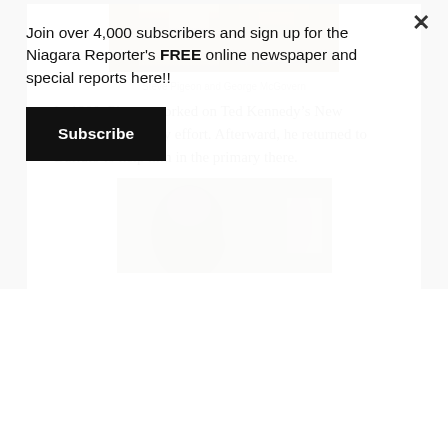[Figure (photo): Partial photo of Steve Pigeon and George McGovern, cropped at top]
Steve Pigeon and George McGovern
In 1980, Pigeon worked on Ted Kennedy’s New Hampshire primary effort. Afterward, he returned to Buffalo to help him in the primary there.
[Figure (photo): Black and white photo of two men, partially visible at bottom of page]
Join over 4,000 subscribers and sign up for the Niagara Reporter’s FREE online newspaper and special reports here!!
Subscribe